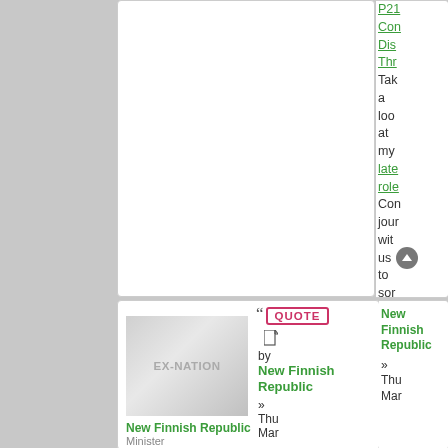Take a look at my late role. Come journey with us to sort in the dark
[Figure (screenshot): EX-NATION avatar placeholder image for New Finnish Republic]
New Finnish Republic
Minister
QUOTE by New Finnish Republic » Thu Mar